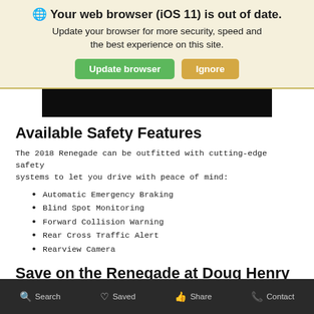🌐 Your web browser (iOS 11) is out of date. Update your browser for more security, speed and the best experience on this site.
[Figure (screenshot): Green 'Update browser' button and tan/gold 'Ignore' button on browser update banner]
[Figure (photo): Black image strip (partial car photo, mostly cropped)]
Available Safety Features
The 2018 Renegade can be outfitted with cutting-edge safety systems to let you drive with peace of mind:
Automatic Emergency Braking
Blind Spot Monitoring
Forward Collision Warning
Rear Cross Traffic Alert
Rearview Camera
Save on the Renegade at Doug Henry Chrysler Dodge Jeep RAM
Search   Saved   Share   Contact